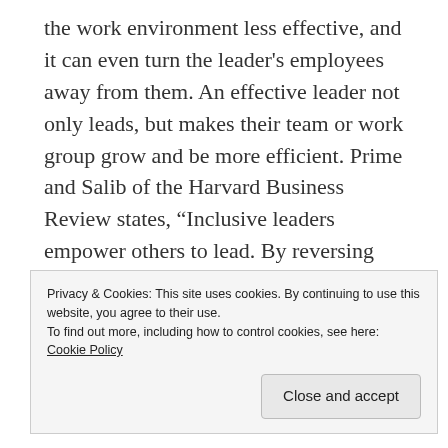the work environment less effective, and it can even turn the leader's employees away from them. An effective leader not only leads, but makes their team or work group grow and be more efficient. Prime and Salib of the Harvard Business Review states, “Inclusive leaders empower others to lead. By reversing roles, leaders not only facilitate employees’ development but they model the act of taking a different perspective”. With this, humble leaders try to involve their employees with the growing
Privacy & Cookies: This site uses cookies. By continuing to use this website, you agree to their use.
To find out more, including how to control cookies, see here: Cookie Policy
Close and accept